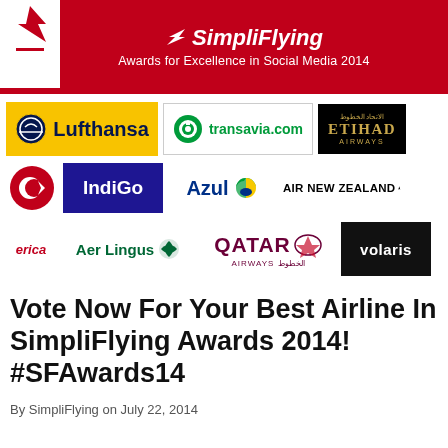[Figure (logo): SimpliFlying Awards for Excellence in Social Media 2014 header banner with Qantas logo on left, SimpliFlying logo and text centered on red background]
[Figure (infographic): Grid of airline logos: Lufthansa, transavia.com, Etihad Airways, Turkish Airlines, IndiGo, Azul, Air New Zealand, America (partially visible), Aer Lingus, Qatar Airways, Volaris]
Vote Now For Your Best Airline In SimpliFlying Awards 2014! #SFAwards14
By SimpliFlying on July 22, 2014